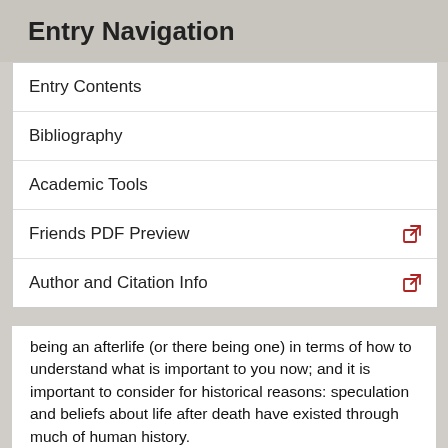Entry Navigation
Entry Contents
Bibliography
Academic Tools
Friends PDF Preview
Author and Citation Info
being an afterlife (or there being one) in terms of how to understand what is important to you now; and it is important to consider for historical reasons: speculation and beliefs about life after death have existed through much of human history.
In most cultures, there is evidence of a belief in some sort of personal afterlife, in which the same individual that lived and died nevertheless persists and continues to have new experiences. There are alternatives, however. The ancient Greeks are noted for having placed a high premium on “survival” in the memory and honor of the